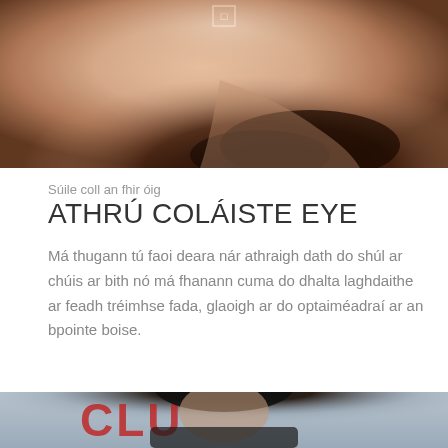[Figure (photo): Close-up photo of a bearded young man, cropped showing chin and neck area, warm skin tones]
Súile coll an fhir óig
ATHRÚ COLÁISTE EYE
Má thugann tú faoi deara nár athraigh dath do shúl ar chúis ar bith nó má fhanann cuma do dhalta laghdaithe ar feadh tréimhse fada, glaoigh ar do optaiméadraí ar an bpointe boise.
[Figure (photo): Portrait photo of a dark-haired young man looking slightly upward, stubble beard, dark jacket, blurred background with red lettering]